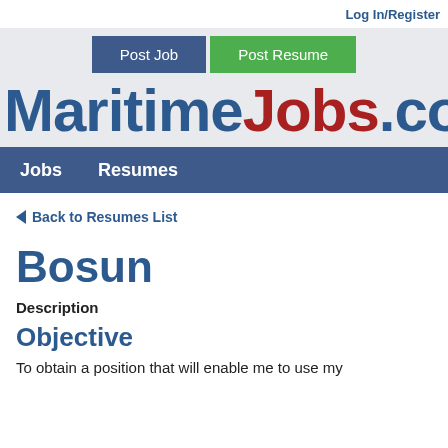Log In/Register
[Figure (screenshot): Navigation buttons: Post Job (blue) and Post Resume (green)]
MaritimeJobs.com
Jobs   Resumes
◄ Back to Resumes List
Bosun
Description
Objective
To obtain a position that will enable me to use my